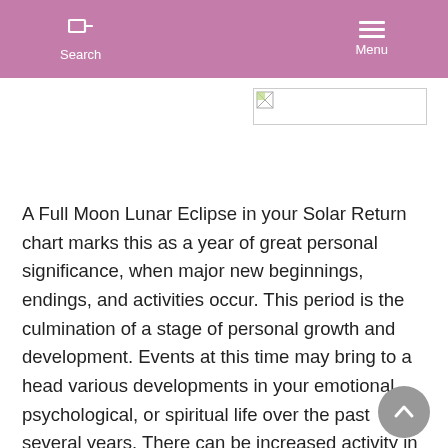Search  Menu
[Figure (photo): Small broken image placeholder in a bordered rectangle]
A Full Moon Lunar Eclipse in your Solar Return chart marks this as a year of great personal significance, when major new beginnings, endings, and activities occur. This period is the culmination of a stage of personal growth and development. Events at this time may bring to a head various developments in your emotional, psychological, or spiritual life over the past several years. There can be increased activity in your professional and